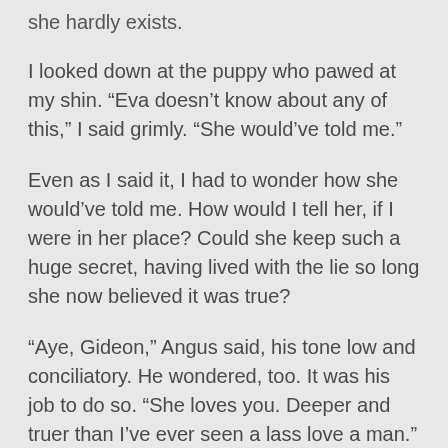she hardly exists.
I looked down at the puppy who pawed at my shin. “Eva doesn’t know about any of this,” I said grimly. “She would’ve told me.”
Even as I said it, I had to wonder how she would’ve told me. How would I tell her, if I were in her place? Could she keep such a huge secret, having lived with the lie so long she now believed it was true?
“Aye, Gideon,” Angus said, his tone low and conciliatory. He wondered, too. It was his job to do so. “She loves you. Deeper and truer than I’ve ever seen a lass love a man.”
I lowered back onto the sofa, felt the slight weight